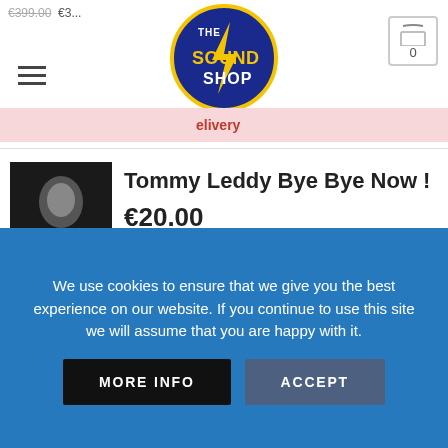[Figure (screenshot): The Sound Shop logo — circular badge with dark blue background, yellow lightning bolt, text 'The SOUND SHOP']
€399.00  €3...
[Figure (illustration): Hamburger menu icon (three horizontal lines)]
[Figure (illustration): Shopping cart icon with 0 items]
delivery
[Figure (photo): Tommy Leddy album cover — man in tuxedo, black and white]
Tommy Leddy Bye Bye Now !
€20.00
POPULAR PRODUCTS
[Figure (photo): Pop Ballads Singer Piano/Guitar album cover — microphone with blue lighting]
Pop Ballads Singer Piano/Guitar
€20.00
We use cookies to ensure that we give you the best experience on our website. If you continue to use this site we will assume that you are happy with it.
MORE INFO
ACCEPT